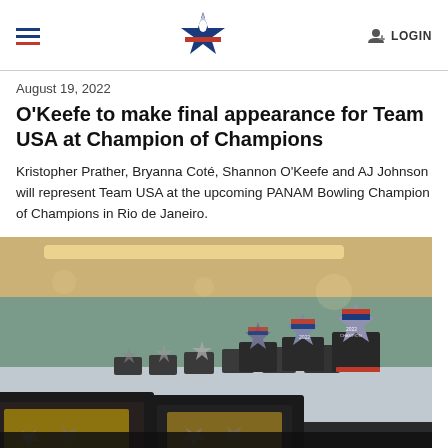LOGIN
August 19, 2022
O'Keefe to make final appearance for Team USA at Champion of Champions
Kristopher Prather, Bryanna Coté, Shannon O'Keefe and AJ Johnson will represent Team USA at the upcoming PANAM Bowling Champion of Champions in Rio de Janeiro.
[Figure (photo): A row of bowling trophies and plaques on a table inside a bowling alley. The trophies feature star-shaped acrylic pieces with USA Bowling branding, arranged in a line receding into the background.]